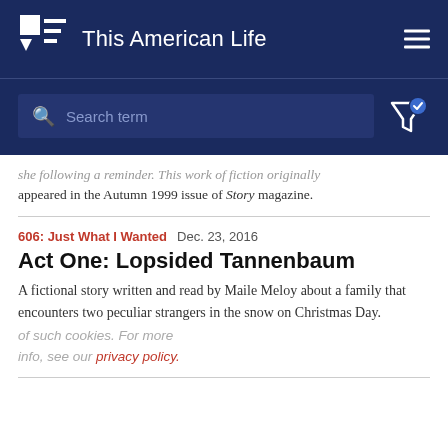This American Life
[Figure (screenshot): Search bar with placeholder text 'Search term' on dark navy background, with filter icon on right]
appeared in the Autumn 1999 issue of Story magazine.
606: Just What I Wanted  Dec. 23, 2016
Act One: Lopsided Tannenbaum
A fictional story written and read by Maile Meloy about a family that encounters two peculiar strangers in the snow on Christmas Day.
of such cookies. For more info, see our privacy policy.